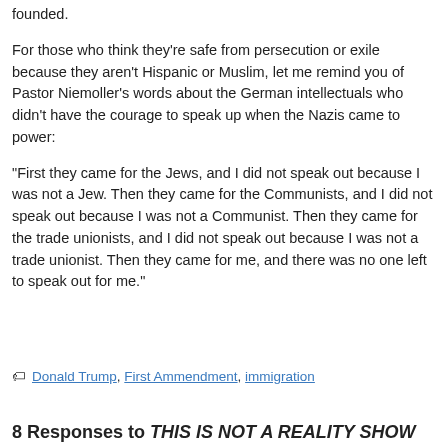founded.
For those who think they're safe from persecution or exile because they aren't Hispanic or Muslim, let me remind you of Pastor Niemoller's words about the German intellectuals who didn't have the courage to speak up when the Nazis came to power:
“First they came for the Jews, and I did not speak out because I was not a Jew. Then they came for the Communists, and I did not speak out because I was not a Communist. Then they came for the trade unionists, and I did not speak out because I was not a trade unionist. Then they came for me, and there was no one left to speak out for me.”
🏷️ Donald Trump, First Ammendment, immigration
8 Responses to THIS IS NOT A REALITY SHOW